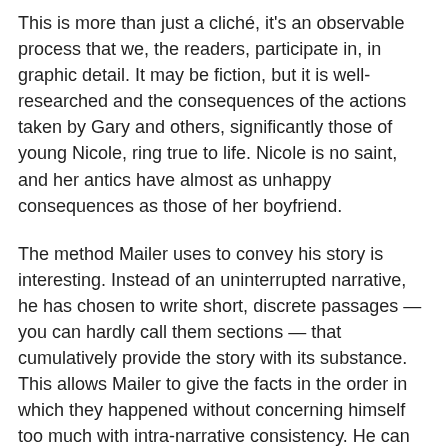This is more than just a cliché, it's an observable process that we, the readers, participate in, in graphic detail. It may be fiction, but it is well-researched and the consequences of the actions taken by Gary and others, significantly those of young Nicole, ring true to life. Nicole is no saint, and her antics have almost as unhappy consequences as those of her boyfriend.
The method Mailer uses to convey his story is interesting. Instead of an uninterrupted narrative, he has chosen to write short, discrete passages — you can hardly call them sections — that cumulatively provide the story with its substance. This allows Mailer to give the facts in the order in which they happened without concerning himself too much with intra-narrative consistency. He can whip out a passage to portray a scene and then switch rapidly to the next without worrying about tying the passages together organically. It is a method that serves him very well, and admirably suits this type of semi-fictitious narrative.
While it seems that Nicole is Gary's girl, there's a lot of